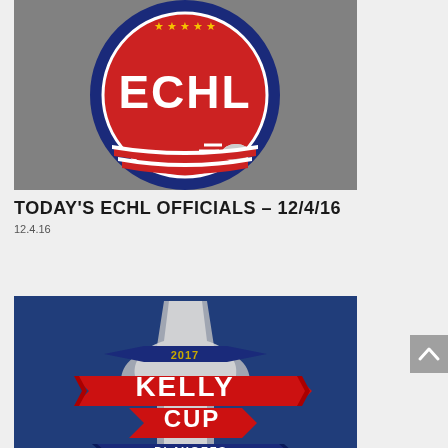[Figure (logo): ECHL logo — circular red, white and blue emblem with stars along the top, bold white 'ECHL' lettering, and a hockey puck with motion lines at the bottom right. Background shows blurred hockey arena crowd.]
TODAY'S ECHL OFFICIALS – 12/4/16
12.4.16
[Figure (logo): 2017 Kelly Cup Playoffs logo — red banner with bold white 'KELLY CUP' text, '2017' above in smaller text on a blue/silver ribbon, 'PLAYOFFS' below on a red banner, ECHL logo at bottom center, silver championship cup trophy in the background. Background is blurred blue.]